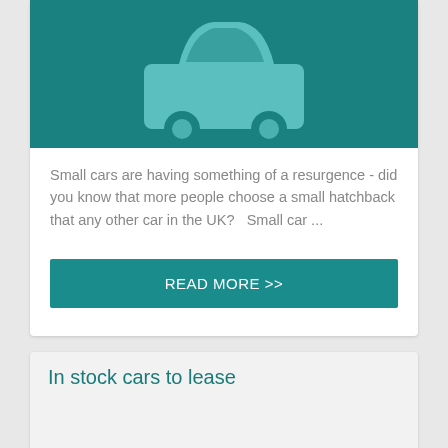[Figure (illustration): Teal background with a light teal car icon (front view of a small hatchback) centered on it]
Small cars are having something of a resurgence - did you know that more people choose a small hatchback that any other car in the UK?   Small car ...
READ MORE >>
In stock cars to lease
[Figure (photo): Partial photo of a car, warm toned, showing front/hood area]